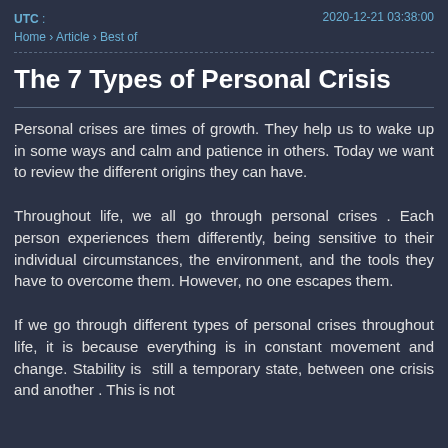UTC :
Home › Article › Best of
2020-12-21 03:38:00
The 7 Types of Personal Crisis
Personal crises are times of growth. They help us to wake up in some ways and calm and patience in others. Today we want to review the different origins they can have.
Throughout life, we all go through personal crises . Each person experiences them differently, being sensitive to their individual circumstances, the environment, and the tools they have to overcome them. However, no one escapes them.
If we go through different types of personal crises throughout life, it is because everything is in constant movement and change. Stability is  still a temporary state, between one crisis and another . This is not something negative, but quite the contrary, it is a vitality that...